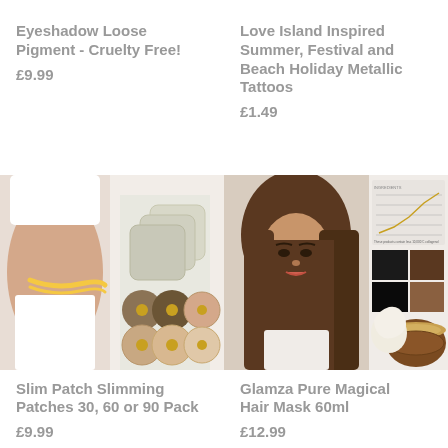Eyeshadow Loose Pigment - Cruelty Free!
£9.99
Love Island Inspired Summer, Festival and Beach Holiday Metallic Tattoos
£1.49
[Figure (photo): Slim patch slimming patches product photo showing a woman's midsection with a measuring tape and several slimming patches]
Slim Patch Slimming Patches 30, 60 or 90 Pack
£9.99
[Figure (photo): Glamza Pure Magical Hair Mask 60ml product photo showing a woman with long straight brown hair and a jar of hair mask product with hair color swatches]
Glamza Pure Magical Hair Mask 60ml
£12.99